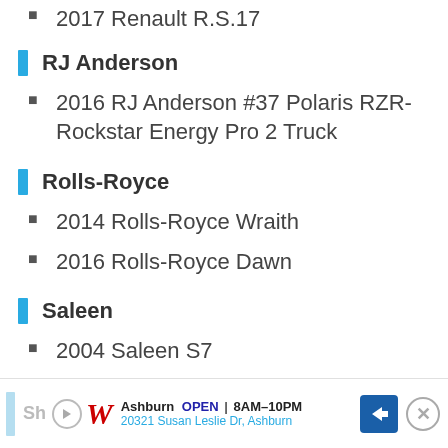2017 Renault R.S.17
RJ Anderson
2016 RJ Anderson #37 Polaris RZR-Rockstar Energy Pro 2 Truck
Rolls-Royce
2014 Rolls-Royce Wraith
2016 Rolls-Royce Dawn
Saleen
2004 Saleen S7
Ashburn OPEN 8AM-10PM 20321 Susan Leslie Dr, Ashburn